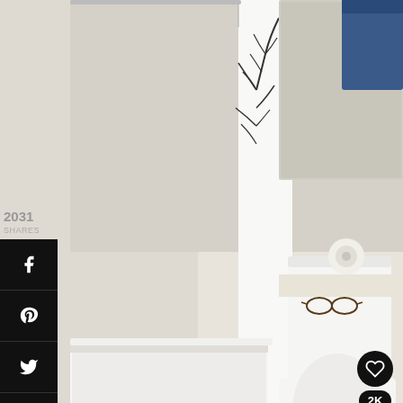[Figure (photo): Bathroom interior showing white bathtub on left, toilet in center, dark wood vanity cabinet on right with glasses and rubber duck on counter, tree-patterned shower curtain, toilet paper roll on tank]
2031
SHARES
[Figure (infographic): Social share sidebar with Facebook, Pinterest, Twitter, Email, and Print icons on black background]
[Figure (infographic): Heart/like button showing 2K likes, and share icon button]
[Figure (photo): What's Next panel showing ceiling light fixture photo with text: WHAT'S NEXT → Master Bathroom...]
[Figure (infographic): Advertisement banner with #FlattenTheCurve text, hand washing photo, and weather app icon]